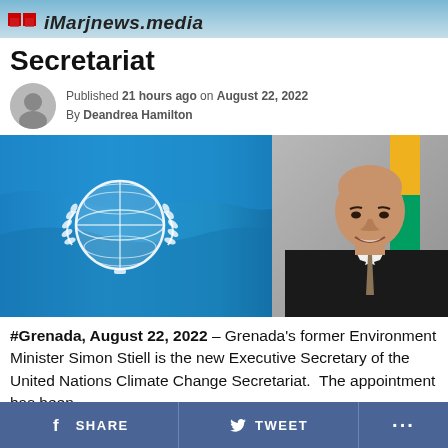iMarjnews.media
Secretariat
Published 21 hours ago on August 22, 2022
By Deandrea Hamilton
[Figure (photo): Left half: UN flag (blue with white globe and laurel emblem). Right half: portrait of a bald man in a dark suit smiling, with Grenada flag visible in background.]
#Grenada, August 22, 2022 – Grenada's former Environment Minister Simon Stiell is the new Executive Secretary of the United Nations Climate Change Secretariat.  The appointment has been
SHARE  TWEET  ...